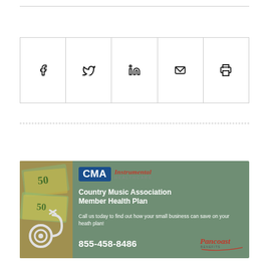[Figure (other): Social sharing bar with Facebook, Twitter, LinkedIn, email, and print icons in a bordered row]
[Figure (other): CMA Instrumental Healthcare advertisement banner — Country Music Association Member Health Plan, call 855-458-8486, Pancoast Benefits logo, with money and stethoscope photo on left and green background]